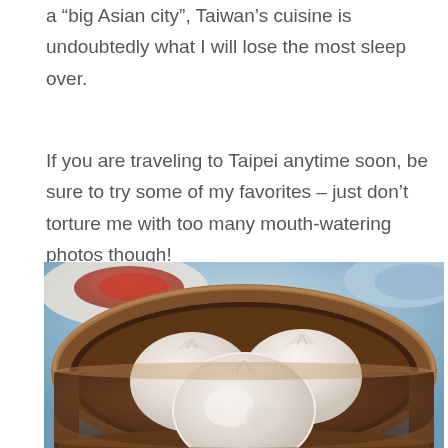a “big Asian city”, Taiwan’s cuisine is undoubtedly what I will lose the most sleep over.
If you are traveling to Taipei anytime soon, be sure to try some of my favorites – just don’t torture me with too many mouth-watering photos though!
[Figure (photo): A bamboo steamer basket containing several white soup dumplings (xiaolongbao). In the background a blurred plate with red sauce and a blue and white bowl are visible.]